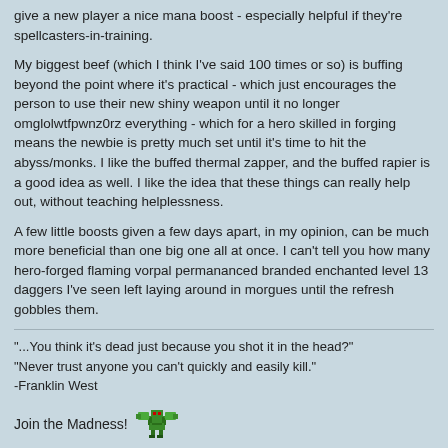give a new player a nice mana boost - especially helpful if they're spellcasters-in-training.
My biggest beef (which I think I've said 100 times or so) is buffing beyond the point where it's practical - which just encourages the person to use their new shiny weapon until it no longer omglolwtfpwnz0rz everything - which for a hero skilled in forging means the newbie is pretty much set until it's time to hit the abyss/monks. I like the buffed thermal zapper, and the buffed rapier is a good idea as well. I like the idea that these things can really help out, without teaching helplessness.
A few little boosts given a few days apart, in my opinion, can be much more beneficial than one big one all at once. I can't tell you how many hero-forged flaming vorpal permananced branded enchanted level 13 daggers I've seen left laying around in morgues until the refresh gobbles them.
"...You think it's dead just because you shot it in the head?"
"Never trust anyone you can't quickly and easily kill."
-Franklin West
Join the Madness!
ID: Cthulhumud
Host: cthulhumud.com
Port: 8080